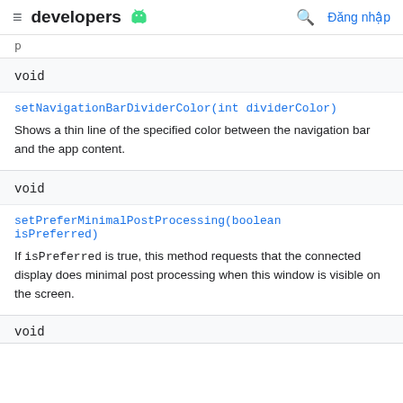developers [android logo] [search] Đăng nhập
(partial top content)
void
setNavigationBarDividerColor(int dividerColor)
Shows a thin line of the specified color between the navigation bar and the app content.
void
setPreferMinimalPostProcessing(boolean isPreferred)
If isPreferred is true, this method requests that the connected display does minimal post processing when this window is visible on the screen.
void (partial bottom)